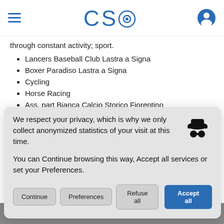CSO (logo with eye icon)
through constant activity; sport.
Lancers Baseball Club Lastra a Signa
Boxer Paradiso Lastra a Signa
Cycling
Horse Racing
Ass. part Bianca Calcio Storico Fiorentino
Costa West Racing Automotive
Ski Academy School Val di Luce
We respect your privacy, which is why we only collect anonymized statistics of your visit at this time.

You can Continue browsing this way, Accept all services or set your Preferences.